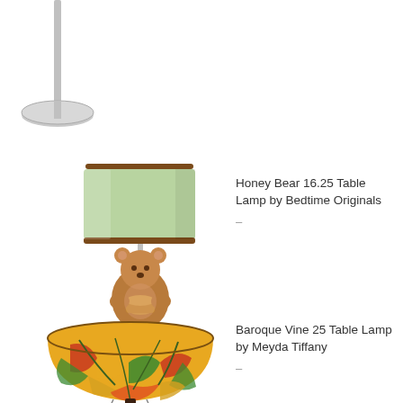[Figure (illustration): Partial view of a floor lamp — silver/chrome pole with oval base, cropped at top, showing only the pole and base without the shade]
[Figure (illustration): Honey Bear 16.25 Table Lamp — cylindrical light green drum shade with brown trim, mounted on a bear figurine base holding a honey pot, on a dark wood disc base]
Honey Bear 16.25 Table Lamp by Bedtime Originals
–
[Figure (illustration): Baroque Vine 25 Table Lamp — Tiffany-style stained glass shade with colorful floral vine pattern in reds, greens, yellows; dark bronze pole with pull chains]
Baroque Vine 25 Table Lamp by Meyda Tiffany
–